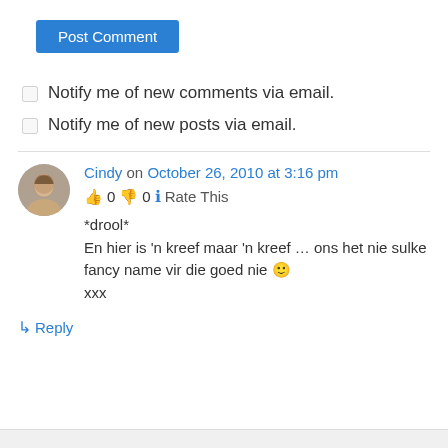Post Comment
Notify me of new comments via email.
Notify me of new posts via email.
Cindy on October 26, 2010 at 3:16 pm
👍 0 👎 0 ℹ Rate This
*drool*
En hier is 'n kreef maar 'n kreef … ons het nie sulke fancy name vir die goed nie 🙂
xxx
↳ Reply